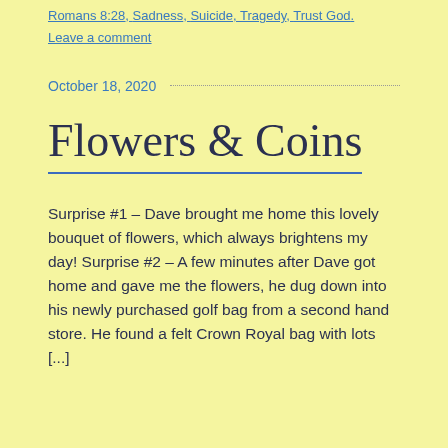Romans 8:28, Sadness, Suicide, Tragedy, Trust God.
Leave a comment
October 18, 2020
Flowers & Coins
Surprise #1 – Dave brought me home this lovely bouquet of flowers, which always brightens my day! Surprise #2 – A few minutes after Dave got home and gave me the flowers, he dug down into his newly purchased golf bag from a second hand store. He found a felt Crown Royal bag with lots [...]